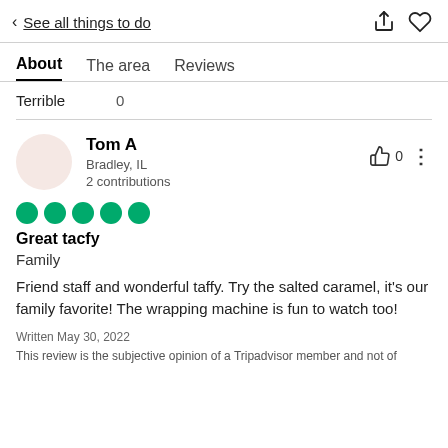< See all things to do
About | The area | Reviews
Terrible  0
Tom A
Bradley, IL
2 contributions
[Figure (other): 5 green filled circles representing 5-star rating]
Great tacfy
Family
Friend staff and wonderful taffy. Try the salted caramel, it's our family favorite! The wrapping machine is fun to watch too!
Written May 30, 2022
This review is the subjective opinion of a Tripadvisor member and not of